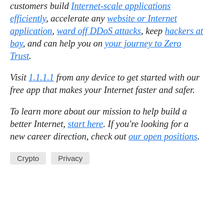customers build Internet-scale applications efficiently, accelerate any website or Internet application, ward off DDoS attacks, keep hackers at bay, and can help you on your journey to Zero Trust.
Visit 1.1.1.1 from any device to get started with our free app that makes your Internet faster and safer.
To learn more about our mission to help build a better Internet, start here. If you're looking for a new career direction, check out our open positions.
Crypto
Privacy